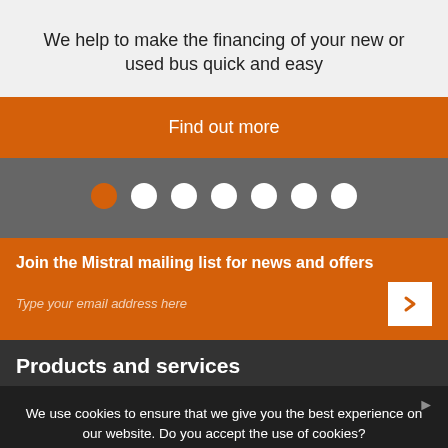We help to make the financing of your new or used bus quick and easy
Find out more
[Figure (other): Carousel navigation dots: one orange (active) and six white dots on a grey background]
Join the Mistral mailing list for news and offers
Type your email address here
Products and services
We use cookies to ensure that we give you the best experience on our website. Do you accept the use of cookies?
I accept · I do not · Read more
Operating Lease
Bus Finance